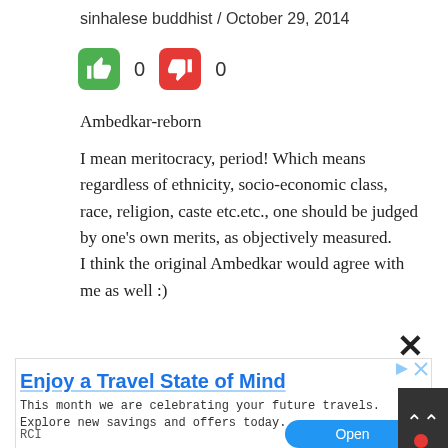sinhalese buddhist / October 29, 2014
[Figure (other): Thumbs up (green) and thumbs down (red) vote buttons with counts 0 and 0]
Ambedkar-reborn
I mean meritocracy, period! Which means regardless of ethnicity, socio-economic class, race, religion, caste etc.etc., one should be judged by one’s own merits, as objectively measured.
I think the original Ambedkar would agree with me as well :)
[Figure (other): Close X button for advertisement]
[Figure (other): Advertisement: Enjoy a Travel State of Mind - RCI ad with Open button]